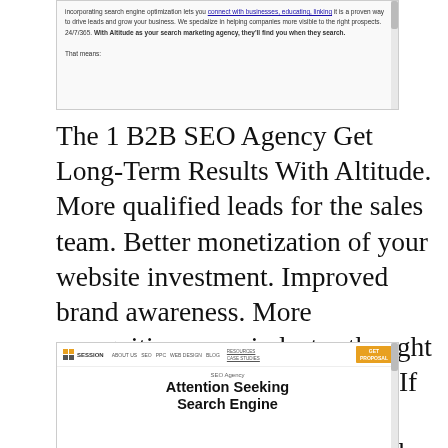[Figure (screenshot): Screenshot of a webpage showing partial text about B2B SEO agency with bold text 'With Altitude as your search marketing agency, they'll find you when they search' and scrollbar visible]
The 1 B2B SEO Agency Get Long-Term Results With Altitude. More qualified leads for the sales team. Better monetization of your website investment. Improved brand awareness. More recognition as an industry thought leader. Our B2B SEO Process. If you run a business-to-business company, youve almost certainly gotten the emails and contact form submissions from search marketing companies.
[Figure (screenshot): Screenshot of Session Interactive website homepage with navigation bar showing logo, menu links, and 'GET PROPOSAL' button, and large headline text 'SEO Agency - Attention Seeking Search Engine']